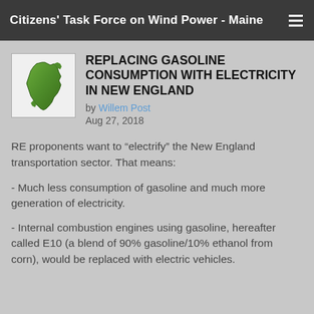Citizens' Task Force on Wind Power - Maine
REPLACING GASOLINE CONSUMPTION WITH ELECTRICITY IN NEW ENGLAND
by Willem Post
Aug 27, 2018
RE proponents want to “electrify” the New England transportation sector. That means:
- Much less consumption of gasoline and much more generation of electricity.
- Internal combustion engines using gasoline, hereafter called E10 (a blend of 90% gasoline/10% ethanol from corn), would be replaced with electric vehicles.